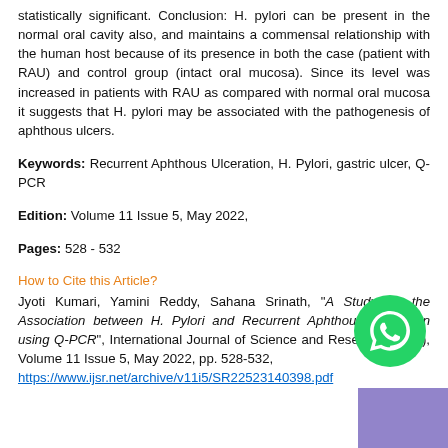statistically significant. Conclusion: H. pylori can be present in the normal oral cavity also, and maintains a commensal relationship with the human host because of its presence in both the case (patient with RAU) and control group (intact oral mucosa). Since its level was increased in patients with RAU as compared with normal oral mucosa it suggests that H. pylori may be associated with the pathogenesis of aphthous ulcers.
Keywords: Recurrent Aphthous Ulceration, H. Pylori, gastric ulcer, Q-PCR
Edition: Volume 11 Issue 5, May 2022,
Pages: 528 - 532
How to Cite this Article?
Jyoti Kumari, Yamini Reddy, Sahana Srinath, "A Study on the Association between H. Pylori and Recurrent Aphthous Ulceration using Q-PCR", International Journal of Science and Research (IJSR), Volume 11 Issue 5, May 2022, pp. 528-532,